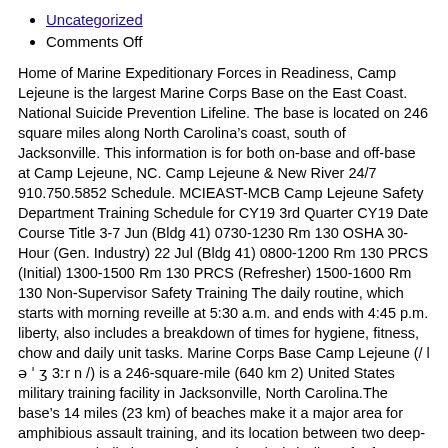Uncategorized
Comments Off
Home of Marine Expeditionary Forces in Readiness, Camp Lejeune is the largest Marine Corps Base on the East Coast. National Suicide Prevention Lifeline. The base is located on 246 square miles along North Carolina’s coast, south of Jacksonville. This information is for both on-base and off-base at Camp Lejeune, NC. Camp Lejeune & New River 24/7 910.750.5852 Schedule. MCIEAST-MCB Camp Lejeune Safety Department Training Schedule for CY19 3rd Quarter CY19 Date Course Title 3-7 Jun (Bldg 41) 0730-1230 Rm 130 OSHA 30-Hour (Gen. Industry) 22 Jul (Bldg 41) 0800-1200 Rm 130 PRCS (Initial) 1300-1500 Rm 130 PRCS (Refresher) 1500-1600 Rm 130 Non-Supervisor Safety Training The daily routine, which starts with morning reveille at 5:30 a.m. and ends with 4:45 p.m. liberty, also includes a breakdown of times for hygiene, fitness, chow and daily unit tasks. Marine Corps Base Camp Lejeune (/ l ə ˈ ʒ 3ːr n /) is a 246-square-mile (640 km 2) United States military training facility in Jacksonville, North Carolina.The base’s 14 miles (23 km) of beaches make it a major area for amphibious assault training, and its location between two deep-water ports (Wilmington and Morehead City) allows for fast deployments. Deployments - Placing Phones “Out Of Service” If the unit does not request their numbers to be suspended, the unit will be charged for the current